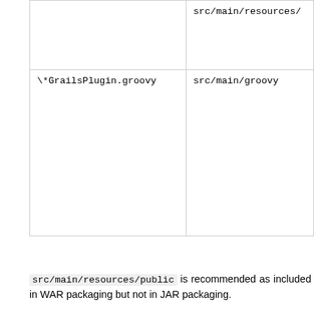| Pattern | Location |
| --- | --- |
|  | src/main/resources/ |
| \*GrailsPlugin.groovy | src/main/groovy |
src/main/resources/public is recommended as included in WAR packaging but not in JAR packaging.
It is recommended to merge Java source files from src/j... You can create a src/main/java directory if you want... generally better to combine the folders. (The Groovy and Ja...
For plugins the plugin descriptor (a Groovy file ending ... previously located in the root of the plugin director... src/main/groovy directory under an appropriate packag...
New Files Not Present in Grails 2.x